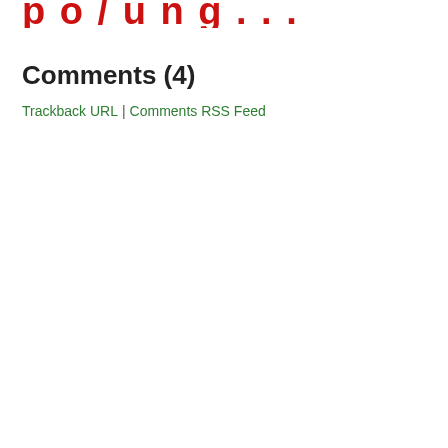reporting...
Comments (4)
Trackback URL | Comments RSS Feed